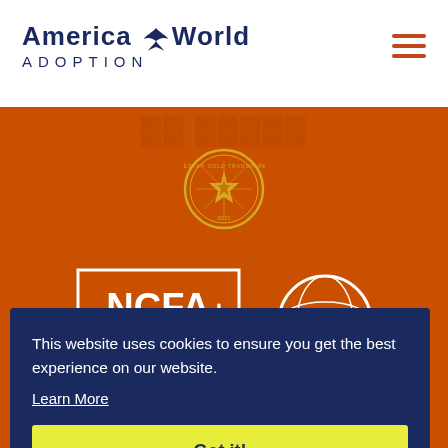[Figure (logo): America World Adoption logo with bird/wings icon between the words]
[Figure (illustration): Hamburger menu icon (three orange horizontal lines)]
[Figure (illustration): Guidestar Gold Transparency 2021 circular badge on orange background]
[Figure (logo): NCFA National Council for Adoption logo in white on orange background, rectangular border]
[Figure (logo): ECFA circular logo in white on orange background]
This website uses cookies to ensure you get the best experience on our website.
Learn More
Got it!